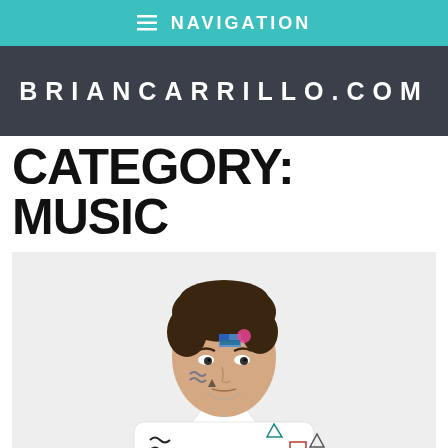≡ NAVIGATION
BRIANCARRILLO.COM
CATEGORY: MUSIC
[Figure (photo): A young man with short brown hair wearing a white shirt decorated with colorful geometric shapes (triangles, squares, squiggles). His face has geometric stickers or painted shapes on it including blue and pink shapes near his forehead and cheek.]